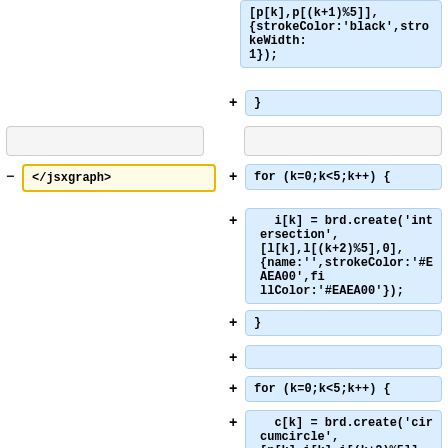[p[k],p[(k+1)%5]], {strokeColor:'black',strokeWidth: 1});
}
</jsxgraph>
for (k=0;k<5;k++) {
i[k] = brd.create('intersection', [l[k],l[(k+2)%5],0], {name:'',strokeColor:'#EAEA00',fillColor:'#EAEA00'});
}
for (k=0;k<5;k++) {
c[k] = brd.create('circumcircle', [p[k],i[k],i[(k+2)%5]], {strokeColor:'gray', strokeWidth:1, point: {visible: false}});